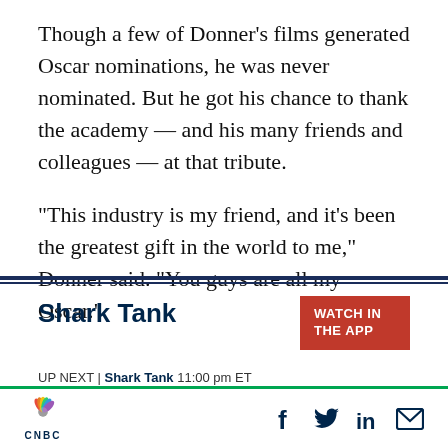Though a few of Donner’s films generated Oscar nominations, he was never nominated. But he got his chance to thank the academy — and his many friends and colleagues — at that tribute.

“This industry is my friend, and it’s been the greatest gift in the world to me,” Donner said. “You guys are all my Oscar.”
Shark Tank
WATCH IN THE APP
UP NEXT | Shark Tank 11:00 pm ET
[Figure (logo): CNBC peacock logo with CNBC text below]
[Figure (infographic): Social media icons: Facebook, Twitter, LinkedIn, Email]